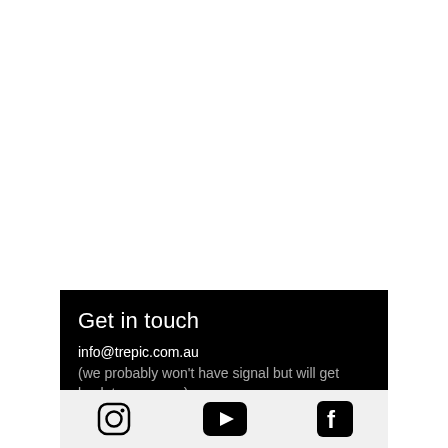Get in touch
info@trepic.com.au
(we probably won't have signal but will get back to you asap)
[Figure (infographic): Footer bar with three social media icons: Instagram (circle with square outline), YouTube (play button triangle in rounded rectangle), and Facebook (f in square)]